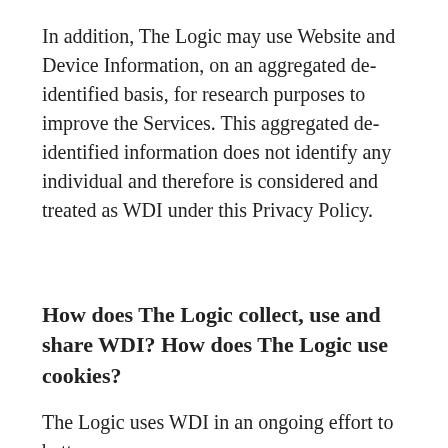In addition, The Logic may use Website and Device Information, on an aggregated de-identified basis, for research purposes to improve the Services. This aggregated de-identified information does not identify any individual and therefore is considered and treated as WDI under this Privacy Policy.
How does The Logic collect, use and share WDI? How does The Logic use cookies?
The Logic uses WDI in an ongoing effort to better